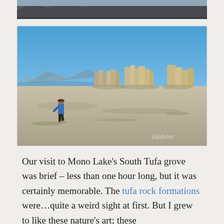[Figure (photo): Partial top strip of a landscape photo, showing rocky terrain at the bottom edge, cropped near the top of the page.]
[Figure (photo): A person in a blue jacket walks across a dry, dusty lakebed toward tall tufa rock formations. Clear blue sky above. Mountains visible in the background. Mono Lake South Tufa grove. Watermark 'fafafoom' in lower right corner.]
Our visit to Mono Lake's South Tufa grove was brief – less than one hour long, but it was certainly memorable. The tufa rock formations were...quite a weird sight at first. But I grew to like these nature's art; these